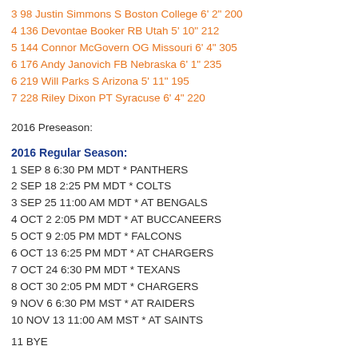3 98 Justin Simmons S Boston College 6' 2" 200
4 136 Devontae Booker RB Utah 5' 10" 212
5 144 Connor McGovern OG Missouri 6' 4" 305
6 176 Andy Janovich FB Nebraska 6' 1" 235
6 219 Will Parks S Arizona 5' 11" 195
7 228 Riley Dixon PT Syracuse 6' 4" 220
2016 Preseason:
2016 Regular Season:
1 SEP 8 6:30 PM MDT * PANTHERS
2 SEP 18 2:25 PM MDT * COLTS
3 SEP 25 11:00 AM MDT * AT BENGALS
4 OCT 2 2:05 PM MDT * AT BUCCANEERS
5 OCT 9 2:05 PM MDT * FALCONS
6 OCT 13 6:25 PM MDT * AT CHARGERS
7 OCT 24 6:30 PM MDT * TEXANS
8 OCT 30 2:05 PM MDT * CHARGERS
9 NOV 6 6:30 PM MST * AT RAIDERS
10 NOV 13 11:00 AM MST * AT SAINTS
11 BYE
12 NOV 27 2:25 PM MST * CHIEFS
13 DEC 4 11:00 AM MST * AT JAGUARS
14 DEC 11 11:00 AM MST * AT TITANS
15 DEC 18 2:25 PM MST * PATRIOTS
16 DEC 25 6:30 PM MST * AT CHIEFS (Christmas Day Game)